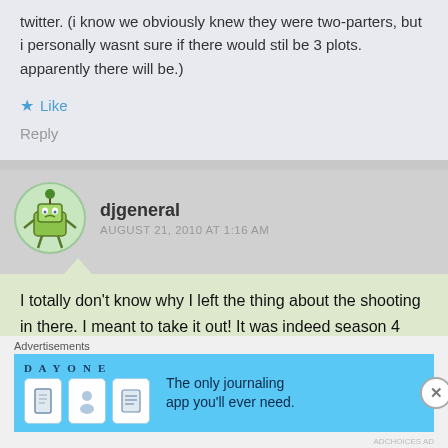twitter. (i know we obviously knew they were two-parters, but i personally wasnt sure if there would stil be 3 plots. apparently there will be.)
★ Like
Reply
djgeneral
AUGUST 21, 2010 AT 1:16 AM
I totally don't know why I left the thing about the shooting in there. I meant to take it out! It was indeed season 4 when Jimmy was shot!
[Figure (infographic): Advertisement banner for 'Day One' journaling app with blue background, icons, and text reading 'The only journaling app you'll ever need.']
Advertisements